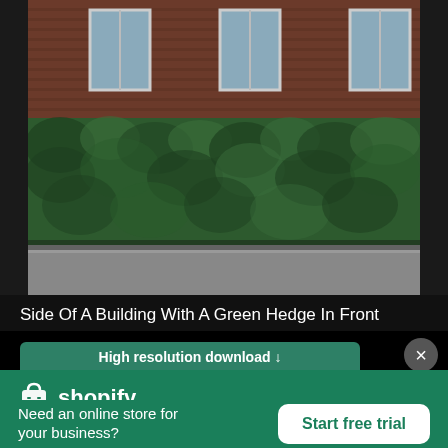[Figure (photo): Photograph of the side of a brick building with tall neatly trimmed green hedge in front, sidewalk visible at bottom]
Side Of A Building With A Green Hedge In Front
High resolution download ↓
[Figure (logo): Shopify logo: shopping bag icon and 'shopify' wordmark in white]
Need an online store for your business?
Start free trial